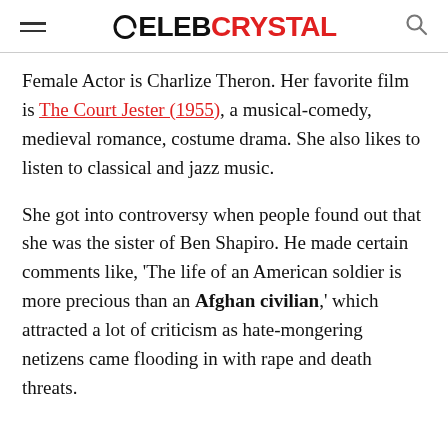CelebCrystal
Female Actor is Charlize Theron. Her favorite film is The Court Jester (1955), a musical-comedy, medieval romance, costume drama. She also likes to listen to classical and jazz music.
She got into controversy when people found out that she was the sister of Ben Shapiro. He made certain comments like, ‘The life of an American soldier is more precious than an Afghan civilian,’ which attracted a lot of criticism as hate-mongering netizens came flooding in with rape and death threats.